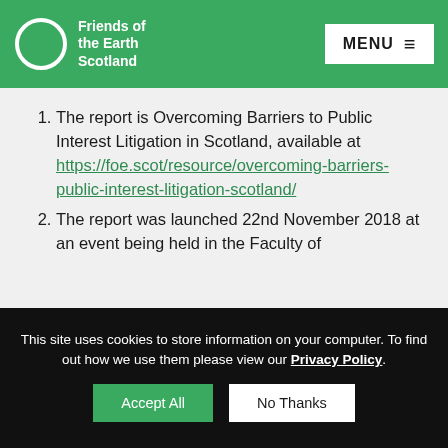Friends of the Earth Scotland — MENU
The report is Overcoming Barriers to Public Interest Litigation in Scotland, available at https://foe.scot/resource/overcoming-barriers-public-interest-litigation-scotland/
The report was launched 22nd November 2018 at an event being held in the Faculty of
This site uses cookies to store information on your computer. To find out how we use them please view our Privacy Policy.